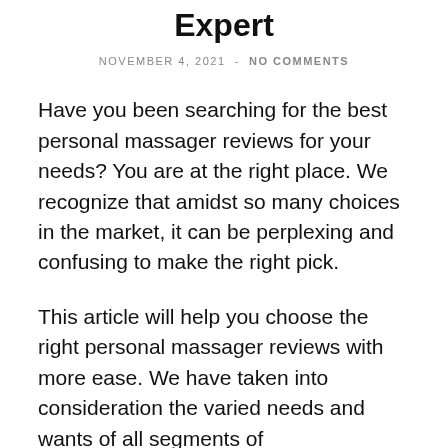Expert
NOVEMBER 4, 2021 - NO COMMENTS
Have you been searching for the best personal massager reviews for your needs? You are at the right place. We recognize that amidst so many choices in the market, it can be perplexing and confusing to make the right pick.
This article will help you choose the right personal massager reviews with more ease. We have taken into consideration the varied needs and wants of all segments of